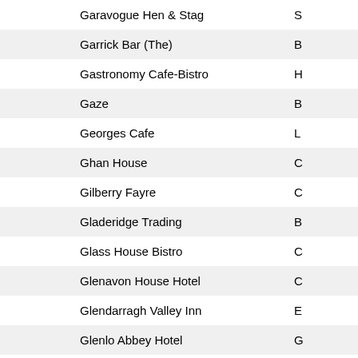| Name | Location |
| --- | --- |
| Garavogue Hen & Stag | S |
| Garrick Bar (The) | B |
| Gastronomy Cafe-Bistro | H |
| Gaze | B |
| Georges Cafe | L |
| Ghan House | C |
| Gilberry Fayre | C |
| Gladeridge Trading | B |
| Glass House Bistro | C |
| Glenavon House Hotel | C |
| Glendarragh Valley Inn | E |
| Glenlo Abbey Hotel | G |
| Glenmore Manor | L |
| Glenroyal Hotel | M |
| Glenside Hotel | D |
| Go Sun Restaurant | B |
| Go Visit Inishowen | B |
| Go Visit Letterkenny | L |